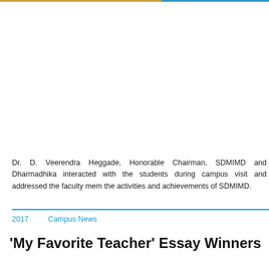[Figure (photo): Photo gallery area showing a campus visit event (image content cropped/not visible)]
Photo Gallery
Dr. D. Veerendra Heggade, Honorable Chairman, SDMIMD and Dharmadhika interacted with the students during campus visit and addressed the faculty mem the activities and achievements of SDMIMD.
2017   Campus News
'My Favorite Teacher' Essay Winners